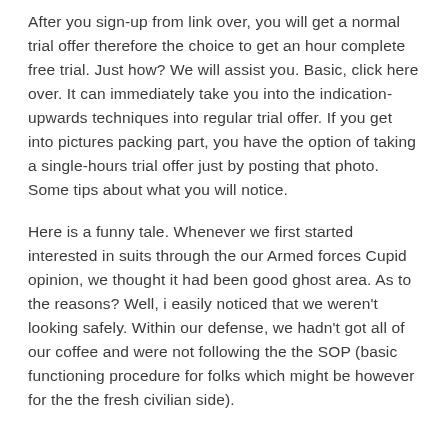After you sign-up from link over, you will get a normal trial offer therefore the choice to get an hour complete free trial. Just how? We will assist you. Basic, click here over. It can immediately take you into the indication-upwards techniques into regular trial offer. If you get into pictures packing part, you have the option of taking a single-hours trial offer just by posting that photo. Some tips about what you will notice.
Here is a funny tale. Whenever we first started interested in suits through the our Armed forces Cupid opinion, we thought it had been good ghost area. As to the reasons? Well, i easily noticed that we weren't looking safely. Within our defense, we hadn't got all of our coffee and were not following the the SOP (basic functioning procedure for folks which might be however for the the fresh civilian side).